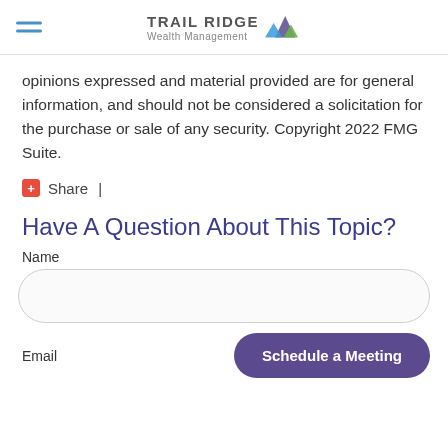Trail Ridge Wealth Management
opinions expressed and material provided are for general information, and should not be considered a solicitation for the purchase or sale of any security. Copyright 2022 FMG Suite.
+ Share |
Have A Question About This Topic?
Name
Email
Schedule a Meeting